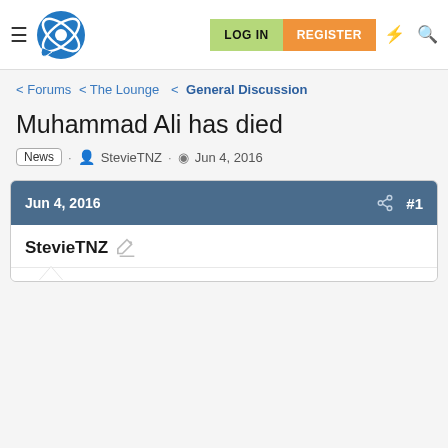LOG IN | REGISTER
Forums < The Lounge < General Discussion
Muhammad Ali has died
News · StevieTNZ · Jun 4, 2016
Jun 4, 2016  #1
StevieTNZ